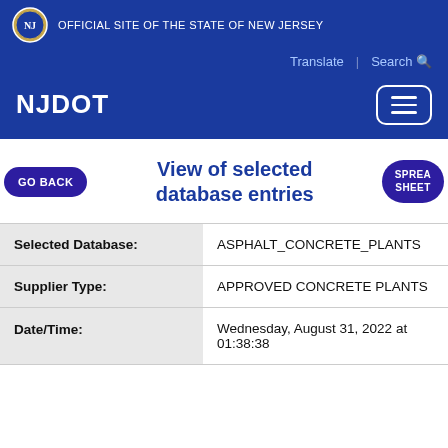OFFICIAL SITE OF THE STATE OF NEW JERSEY
NJDOT
View of selected database entries
| Field | Value |
| --- | --- |
| Selected Database: | ASPHALT_CONCRETE_PLANTS |
| Supplier Type: | APPROVED CONCRETE PLANTS |
| Date/Time: | Wednesday, August 31, 2022 at 01:38:38 |